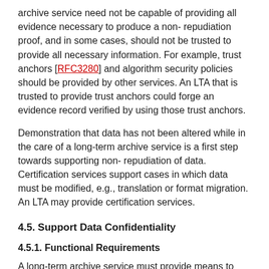archive service need not be capable of providing all evidence necessary to produce a non- repudiation proof, and in some cases, should not be trusted to provide all necessary information. For example, trust anchors [RFC3280] and algorithm security policies should be provided by other services. An LTA that is trusted to provide trust anchors could forge an evidence record verified by using those trust anchors.
Demonstration that data has not been altered while in the care of a long-term archive service is a first step towards supporting non- repudiation of data. Certification services support cases in which data must be modified, e.g., translation or format migration. An LTA may provide certification services.
4.5. Support Data Confidentiality
4.5.1. Functional Requirements
A long-term archive service must provide means to ensure